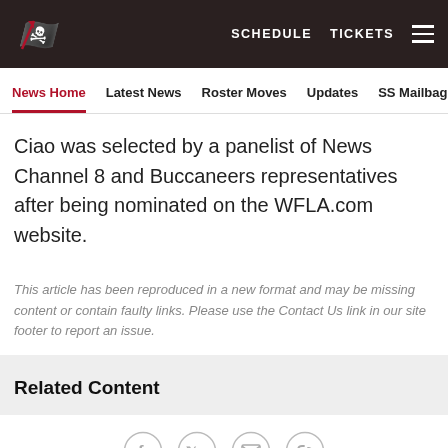SCHEDULE  TICKETS
News Home  Latest News  Roster Moves  Updates  SS Mailbag
Ciao was selected by a panelist of News Channel 8 and Buccaneers representatives after being nominated on the WFLA.com website.
This article has been reproduced in a new format and may be missing content or contain faulty links. Please use the Contact Us link in our site footer to report an issue.
Related Content